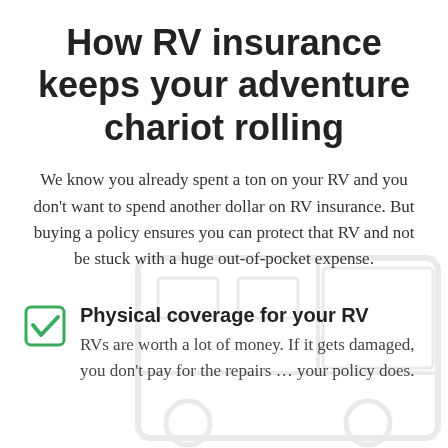How RV insurance keeps your adventure chariot rolling
We know you already spent a ton on your RV and you don't want to spend another dollar on RV insurance. But buying a policy ensures you can protect that RV and not be stuck with a huge out-of-pocket expense.
Physical coverage for your RV – RVs are worth a lot of money. If it gets damaged, you don't pay for the repairs … your policy does.